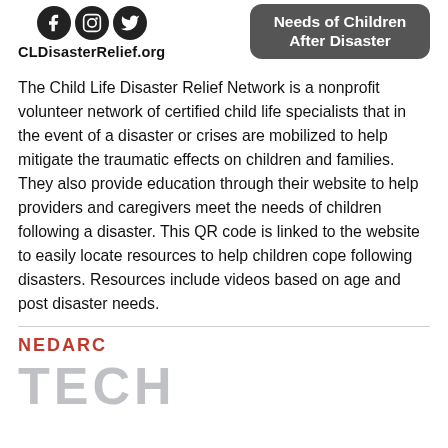[Figure (logo): Social media icons (Facebook, Instagram, Twitter) and CLDisasterRelief.org website text on the left, with a dark rounded rectangle button on the right containing 'Needs of Children After Disaster' in white bold text]
The Child Life Disaster Relief Network is a nonprofit volunteer network of certified child life specialists that in the event of a disaster or crises are mobilized to help mitigate the traumatic effects on children and families. They also provide education through their website to help providers and caregivers meet the needs of children following a disaster. This QR code is linked to the website to easily locate resources to help children cope following disasters. Resources include videos based on age and post disaster needs.
[Figure (logo): NEDARC logo: red bold text 'NEDARC' above large grey bold text 'TECH' partially cut off at bottom of page]